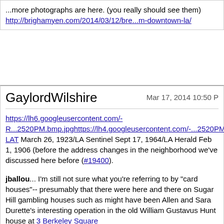...more photographs are here. (you really should see them)
http://brighamyen.com/2014/03/12/bre...m-downtown-la/
GaylordWilshire
Mar 17, 2014 10:50 P
https://lh6.googleusercontent.com/-R...2520PM.bmp.jpghttps://lh4.googleusercontent.com/-...2520PM.bmp.jpghttps://lh4.googleusercontent.com/-0...2520PM.bmp.jp LAT March 26, 1923/LA Sentinel Sept 17, 1964/LA Herald Feb 1, 1906 (before the address changes in the neighborhood we've discussed here before (#19400).
jballou... I'm still not sure what you're referring to by "card houses"-- presumably that there were here and there on Sugar Hill gambling houses such as might have been Allen and Sara Durette's interesting operation in the old William Gustavus Hunt house at 3 Berkeley Square
"Sugar Hill' came into use in the early '40s as prosperous African-Americans began to move into the neighborhood, often in violation of deed restrictions. As I understand it, some wanted to call it "Blueberry Hill" rather than "Sugar" to distinguish it from the fancy precinct in Harlem, but "Sugar" won out probably because it did suggest the original (and maybe since "sugar" is what we all really want, good as blueberries can be). As the '40s evolved and brave pioneers such as Hattie McDaniel, Louise Beavers, and prominent neighborhood professionals such as Dr. William Clyde Allen of